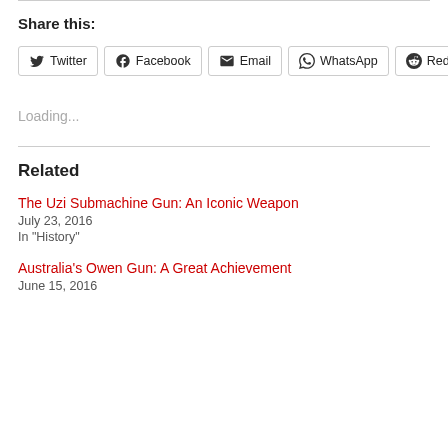Share this:
Twitter Facebook Email WhatsApp Reddit
Loading...
Related
The Uzi Submachine Gun: An Iconic Weapon
July 23, 2016
In "History"
Australia's Owen Gun: A Great Achievement
June 15, 2016